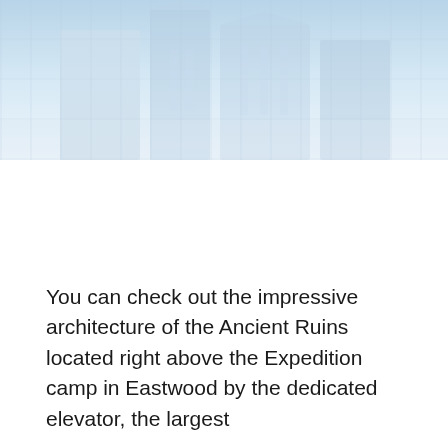[Figure (photo): A faded/washed-out photograph showing ancient ruins or architectural structures with a pale blue sky background. The image appears to show buildings or temple-like structures.]
You can check out the impressive architecture of the Ancient Ruins located right above the Expedition camp in Eastwood by the dedicated elevator, the largest...